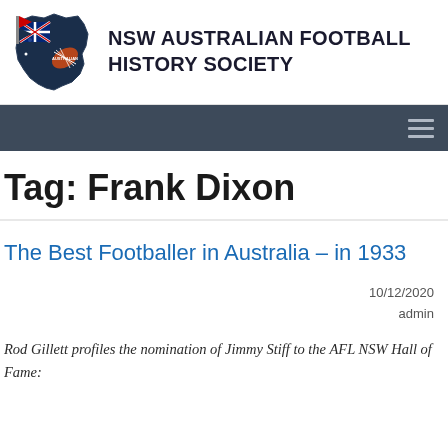[Figure (logo): NSW Australian Football History Society logo — a stylized map of NSW with an Australian football and a flag featuring the Australian flag motif, in navy blue, red, and white]
NSW Australian Football History Society
Tag: Frank Dixon
The Best Footballer in Australia – in 1933
10/12/2020
admin
Rod Gillett profiles the nomination of Jimmy Stiff to the AFL NSW Hall of Fame: